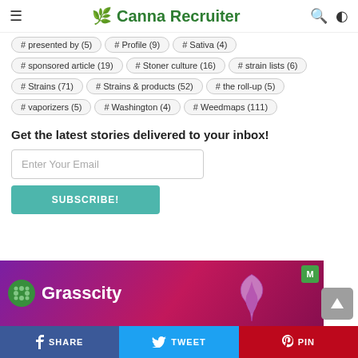🌿 Canna Recruiter
# presented by (5)
# Profile (9)
# Sativa (4)
# sponsored article (19)
# Stoner culture (16)
# strain lists (6)
# Strains (71)
# Strains & products (52)
# the roll-up (5)
# vaporizers (5)
# Washington (4)
# Weedmaps (111)
Get the latest stories delivered to your inbox!
[Figure (other): Grasscity advertisement banner with purple/magenta gradient background and Grasscity logo]
SHARE  TWEET  PIN